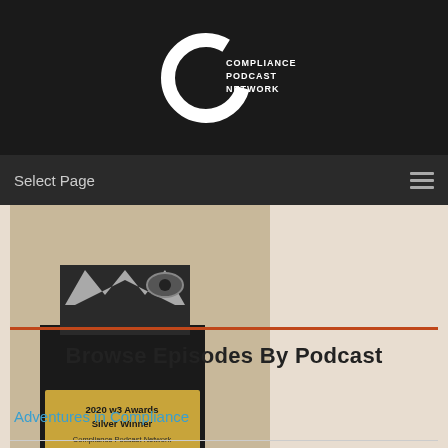[Figure (logo): Compliance Podcast Network logo — white C-shape with text COMPLIANCE PODCAST NETWORK on black background]
Select Page
[Figure (photo): Photo of a 2020 w3 Awards Silver Winner trophy for Compliance Podcast Network, described as 'Only podcast network dedicated to business ethics & compliance']
Browse Episodes By Podcast
Adventures in Compliance